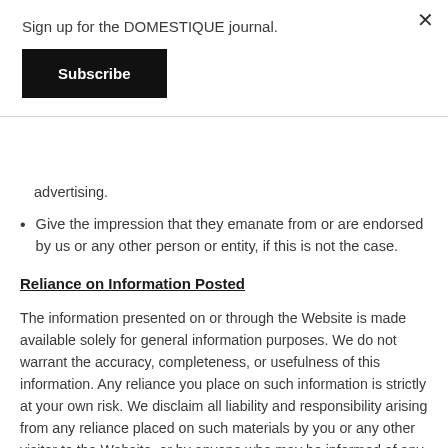Sign up for the DOMESTIQUE journal.
[Figure (other): Subscribe button — black rectangle with white bold text 'Subscribe']
advertising.
Give the impression that they emanate from or are endorsed by us or any other person or entity, if this is not the case.
Reliance on Information Posted
The information presented on or through the Website is made available solely for general information purposes. We do not warrant the accuracy, completeness, or usefulness of this information. Any reliance you place on such information is strictly at your own risk. We disclaim all liability and responsibility arising from any reliance placed on such materials by you or any other visitor to the Website, or by anyone who may be informed of any of its contents.